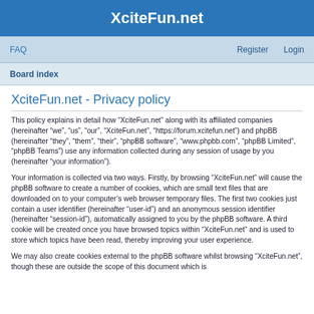XciteFun.net
FAQ    Register    Login
Board index
XciteFun.net - Privacy policy
This policy explains in detail how “XciteFun.net” along with its affiliated companies (hereinafter “we”, “us”, “our”, “XciteFun.net”, “https://forum.xcitefun.net”) and phpBB (hereinafter “they”, “them”, “their”, “phpBB software”, “www.phpbb.com”, “phpBB Limited”, “phpBB Teams”) use any information collected during any session of usage by you (hereinafter “your information”).
Your information is collected via two ways. Firstly, by browsing “XciteFun.net” will cause the phpBB software to create a number of cookies, which are small text files that are downloaded on to your computer’s web browser temporary files. The first two cookies just contain a user identifier (hereinafter “user-id”) and an anonymous session identifier (hereinafter “session-id”), automatically assigned to you by the phpBB software. A third cookie will be created once you have browsed topics within “XciteFun.net” and is used to store which topics have been read, thereby improving your user experience.
We may also create cookies external to the phpBB software whilst browsing “XciteFun.net”, though these are outside the scope of this document which is